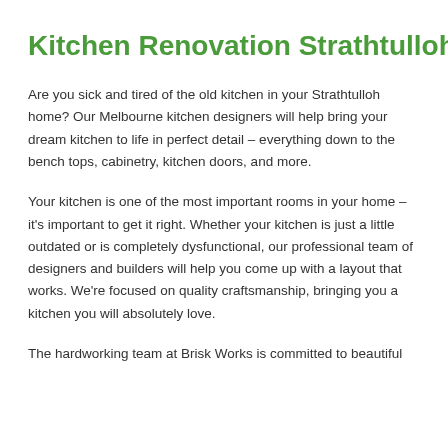Kitchen Renovation Strathtulloh
Are you sick and tired of the old kitchen in your Strathtulloh home? Our Melbourne kitchen designers will help bring your dream kitchen to life in perfect detail – everything down to the bench tops, cabinetry, kitchen doors, and more.
Your kitchen is one of the most important rooms in your home – it's important to get it right. Whether your kitchen is just a little outdated or is completely dysfunctional, our professional team of designers and builders will help you come up with a layout that works. We're focused on quality craftsmanship, bringing you a kitchen you will absolutely love.
The hardworking team at Brisk Works is committed to beautiful